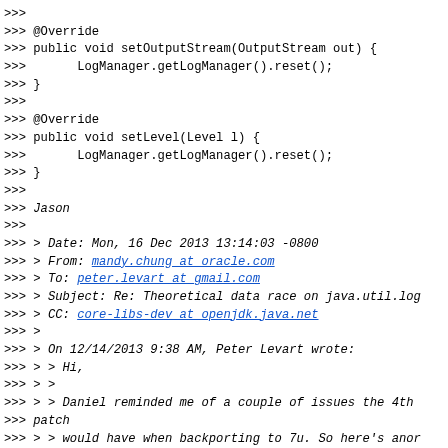>>>
>>> @Override
>>> public void setOutputStream(OutputStream out) {
>>>       LogManager.getLogManager().reset();
>>> }
>>>
>>> @Override
>>> public void setLevel(Level l) {
>>>       LogManager.getLogManager().reset();
>>> }
>>>
>>> Jason
>>>
>>> > Date: Mon, 16 Dec 2013 13:14:03 -0800
>>> > From: mandy.chung at oracle.com
>>> > To: peter.levart at gmail.com
>>> > Subject: Re: Theoretical data race on java.util.log
>>> > CC: core-libs-dev at openjdk.java.net
>>> >
>>> > On 12/14/2013 9:38 AM, Peter Levart wrote:
>>> > > Hi,
>>> > >
>>> > > Daniel reminded me of a couple of issues the 4th patch
>>> > > would have when backporting to 7u. So here's ano
>>> > > tries to be more backport-friendly:
>>> > >
>>> > >
>>> http://cr.openjdk.java.net/~plevart/jdk8-t1/jul.Hand.
>>>